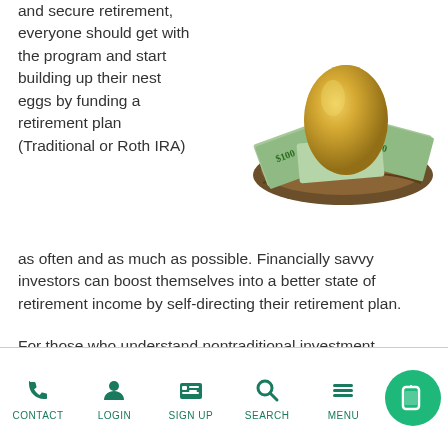and secure retirement, everyone should get with the program and start building up their nest eggs by funding a retirement plan (Traditional or Roth IRA) as often and as much as possible. Financially savvy investors can boost themselves into a better state of retirement income by self-directing their retirement plan.
[Figure (photo): A golden egg sitting in a nest filled with US dollar bills, symbolizing retirement savings and nest egg concept.]
For those who understand nontraditional investment options, a self-directed IRA can be a great way to build retirement wealth more aggressively. This investment vehicle allows individuals to include alternative assets they already
CONTACT  LOGIN  SIGN UP  SEARCH  MENU